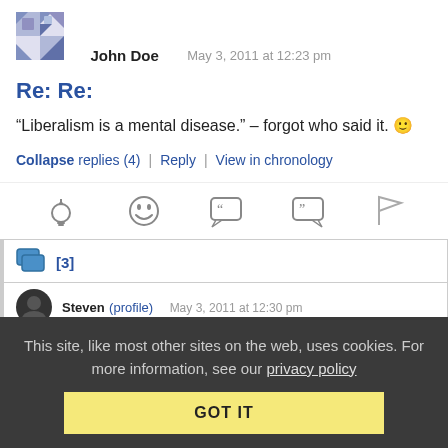[Figure (illustration): Avatar icon for John Doe — decorative geometric pattern in blue/purple]
John Doe   May 3, 2011 at 12:23 pm
Re: Re:
“Liberalism is a mental disease.” – forgot who said it. 🙂
Collapse replies (4) | Reply | View in chronology
[Figure (infographic): Row of reaction/action icons: lightbulb, laugh face, quote left, quote right, flag]
[Figure (illustration): Nested comment indicator icon with [3] count badge]
Steven (profile)   May 3, 2011 at 12:30 pm
This site, like most other sites on the web, uses cookies. For more information, see our privacy policy
GOT IT